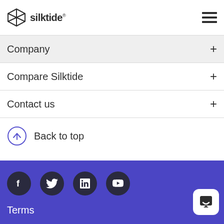silktide® [hamburger menu]
Company +
Compare Silktide +
Contact us +
Back to top
Social icons: Facebook, Twitter, LinkedIn, YouTube. Terms